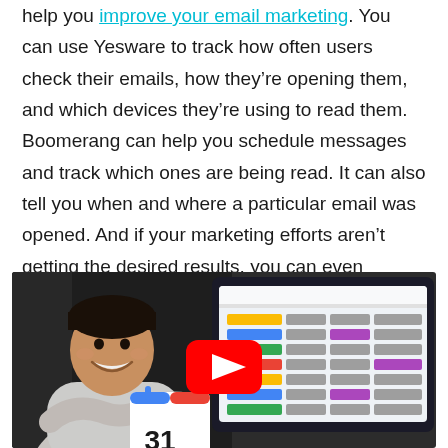help you improve your email marketing. You can use Yesware to track how often users check their emails, how they're opening them, and which devices they're using to read them. Boomerang can help you schedule messages and track which ones are being read. It can also tell you when and where a particular email was opened. And if your marketing efforts aren't getting the desired results, you can even schedule reminders.
[Figure (photo): A smiling man standing in front of a large monitor displaying a Google Calendar-like interface with colorful event blocks. A YouTube play button overlay is centered on the image. A Google Calendar icon (showing '31') is visible in the lower left area.]